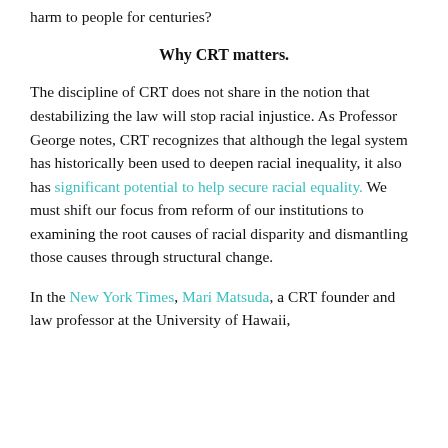harm to people for centuries?
Why CRT matters.
The discipline of CRT does not share in the notion that destabilizing the law will stop racial injustice. As Professor George notes, CRT recognizes that although the legal system has historically been used to deepen racial inequality, it also has significant potential to help secure racial equality. We must shift our focus from reform of our institutions to examining the root causes of racial disparity and dismantling those causes through structural change.
In the New York Times, Mari Matsuda, a CRT founder and law professor at the University of Hawaii,